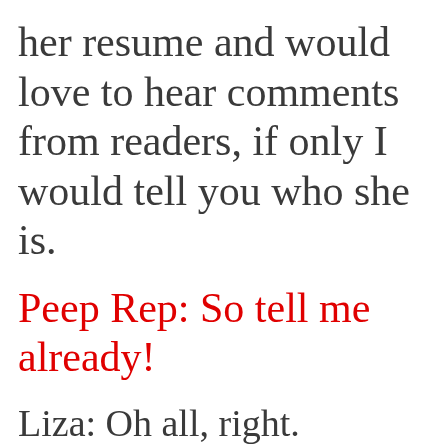her resume and would love to hear comments from readers, if only I would tell you who she is.
Peep Rep: So tell me already!
Liza: Oh all, right.
          It's
Cheryl Yeko